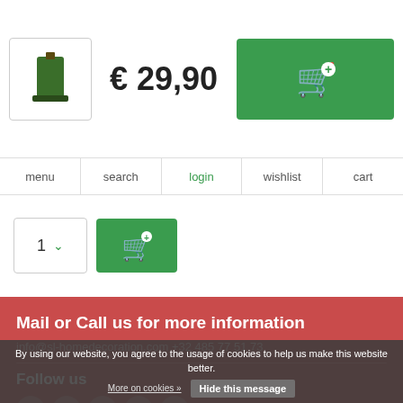[Figure (screenshot): Product thumbnail image showing a decorative item (dark green/black candle or decoration)]
€ 29,90
[Figure (other): Green add-to-cart button with shopping cart plus icon]
menu
search
login
wishlist
cart
1
Mail or Call us for more information
info@sl-homedecoration.com +32 485 77 51 73
Follow us
By using our website, you agree to the usage of cookies to help us make this website better.
Hide this message
Receive the latest offers and promotions
More on cookies »